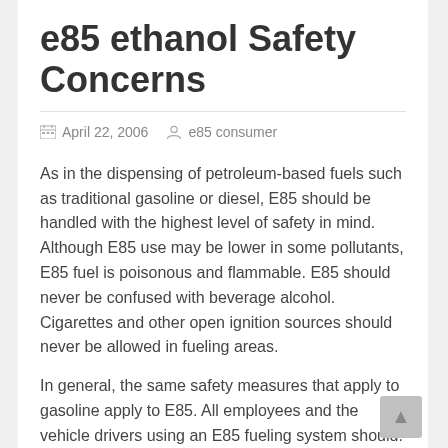e85 ethanol Safety Concerns
April 22, 2006   e85 consumer
As in the dispensing of petroleum-based fuels such as traditional gasoline or diesel, E85 should be handled with the highest level of safety in mind. Although E85 use may be lower in some pollutants, E85 fuel is poisonous and flammable. E85 should never be confused with beverage alcohol. Cigarettes and other open ignition sources should never be allowed in fueling areas.
In general, the same safety measures that apply to gasoline apply to E85. All employees and the vehicle drivers using an E85 fueling system should:
Know basic safety practices